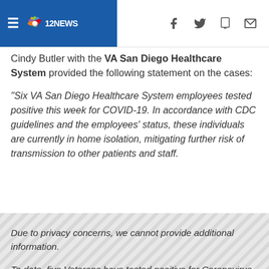12NEWS
Cindy Butler with the VA San Diego Healthcare System provided the following statement on the cases:
"Six VA San Diego Healthcare System employees tested positive this week for COVID-19. In accordance with CDC guidelines and the employees' status, these individuals are currently in home isolation, mitigating further risk of transmission to other patients and staff.
[Figure (other): Advertisement / sponsored content placeholder with diagonal hatching pattern]
Due to privacy concerns, we cannot provide additional information.
To date, five Veterans have tested positive for Coronavirus